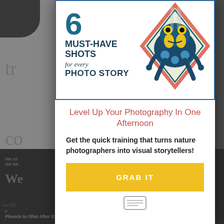[Figure (screenshot): Modal popup overlay on a photography website. The modal contains an illustrated book cover with '6 MUST-HAVE SHOTS for every PHOTO STORY' and a colorful poison dart frog in a diamond frame. Below is the text 'Level Up Your Photography In One Afternoon', 'Get the quick training that turns nature photographers into visual storytellers!', and a yellow 'GRAB IT' button.]